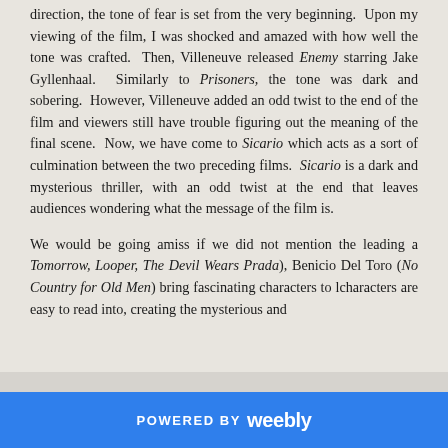direction, the tone of fear is set from the very beginning. Upon my viewing of the film, I was shocked and amazed with how well the tone was crafted. Then, Villeneuve released Enemy starring Jake Gyllenhaal. Similarly to Prisoners, the tone was dark and sobering. However, Villeneuve added an odd twist to the end of the film and viewers still have trouble figuring out the meaning of the final scene. Now, we have come to Sicario which acts as a sort of culmination between the two preceding films. Sicario is a dark and mysterious thriller, with an odd twist at the end that leaves audiences wondering what the message of the film is.
We would be going amiss if we did not mention the leading a… Tomorrow, Looper, The Devil Wears Prada), Benicio Del Toro (No Country for Old Men) bring fascinating characters to l… characters are easy to read into, creating the mysterious and …
POWERED BY weebly